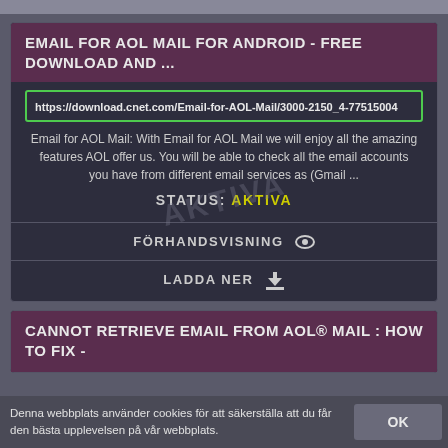EMAIL FOR AOL MAIL FOR ANDROID - FREE DOWNLOAD AND ...
https://download.cnet.com/Email-for-AOL-Mail/3000-2150_4-77515004
Email for AOL Mail: With Email for AOL Mail we will enjoy all the amazing features AOL offer us. You will be able to check all the email accounts you have from different email services as (Gmail ...
STATUS: AKTIVA
FÖRHANDSVISNING
LADDA NER
CANNOT RETRIEVE EMAIL FROM AOL® MAIL : HOW TO FIX -
Denna webbplats använder cookies för att säkerställa att du får den bästa upplevelsen på vår webbplats.